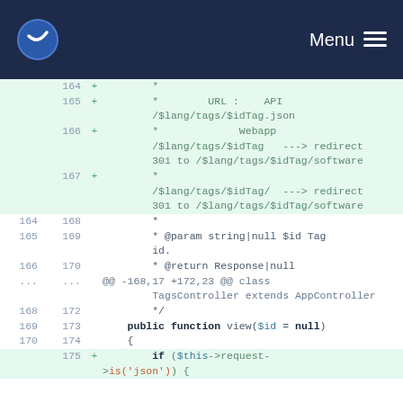Menu
[Figure (screenshot): Code diff view showing PHP file changes with line numbers, added lines highlighted in green, and context lines in white. Lines 164-175 shown with old/new numbering.]